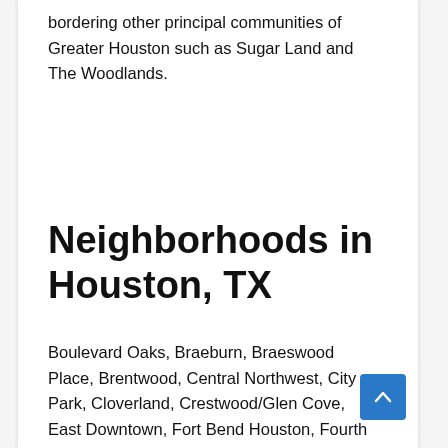bordering other principal communities of Greater Houston such as Sugar Land and The Woodlands.
Neighborhoods in Houston, TX
Boulevard Oaks, Braeburn, Braeswood Place, Brentwood, Central Northwest, City Park, Cloverland, Crestwood/Glen Cove, East Downtown, Fort Bend Houston, Fourth Ward, Glenbrook Valley, Greater East End, Greater Eastwood, Greater Fifth Ward